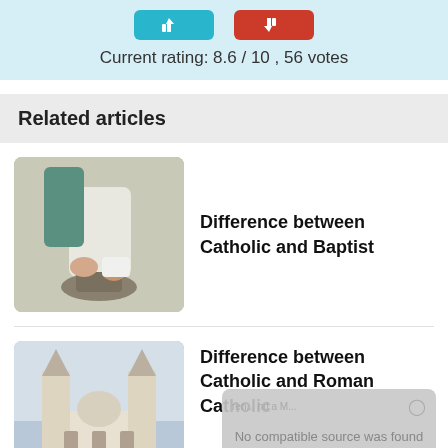Current rating: 8.6 / 10 , 56 votes
Related articles
Difference between Catholic and Baptist
[Figure (photo): Hands clasped over a baptismal font, religious ceremony photo]
Difference between Catholic and Roman Catholic
[Figure (photo): Cathedral with twin spires, white building exterior]
No compatible source was found for this media.